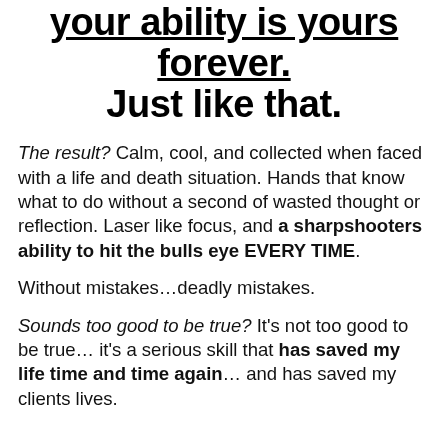your ability is yours forever. Just like that.
The result? Calm, cool, and collected when faced with a life and death situation. Hands that know what to do without a second of wasted thought or reflection. Laser like focus, and a sharpshooters ability to hit the bulls eye EVERY TIME.
Without mistakes…deadly mistakes.
Sounds too good to be true? It's not too good to be true… it's a serious skill that has saved my life time and time again… and has saved my clients lives.